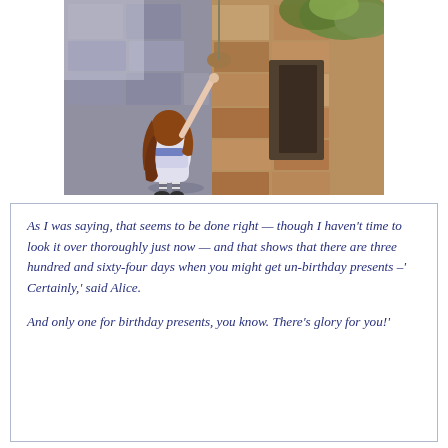[Figure (illustration): Classic illustration from Alice in Wonderland showing Alice (a girl with long reddish-brown hair wearing a white dress and striped stockings) viewed from behind, standing near a stone wall with garden foliage, reaching up toward something above.]
As I was saying, that seems to be done right — though I haven't time to look it over thoroughly just now — and that shows that there are three hundred and sixty-four days when you might get un-birthday presents –' Certainly,' said Alice.

And only one for birthday presents, you know. There's glory for you!'